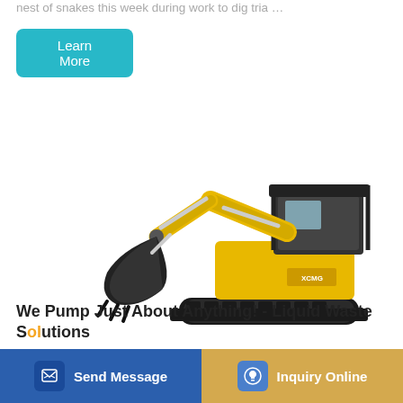nest of snakes this week during work to dig tria …
Learn More
[Figure (photo): Yellow mini excavator with black bucket attachment and rubber tracks on white background]
We Pump Just About Anything! - Liquid Waste Solutions
Send Message
Inquiry Online
Call Emily in the City of Houston. Her number is 832-393-